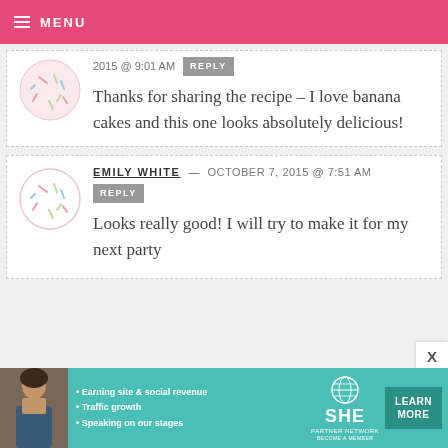MENU
2015 @ 9:01 AM
Thanks for sharing the recipe – I love banana cakes and this one looks absolutely delicious!
EMILY WHITE — OCTOBER 7, 2015 @ 7:51 AM
Looks really good! I will try to make it for my next party
[Figure (infographic): SHE Partner Network advertisement banner with photo of a woman, bullet points about earning site and social revenue, traffic growth, speaking on stages, and a Learn More button]